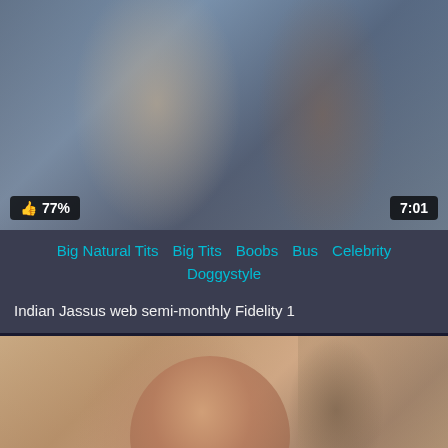[Figure (screenshot): Video thumbnail showing two people facing each other in close proximity, appears to be from an Indian web series]
👍 77%   7:01
Big Natural Tits   Big Tits   Boobs   Bus   Celebrity   Doggystyle
Indian Jassus web semi-monthly Fidelity 1
[Figure (screenshot): Video thumbnail showing an Indian woman in traditional red attire looking at camera]